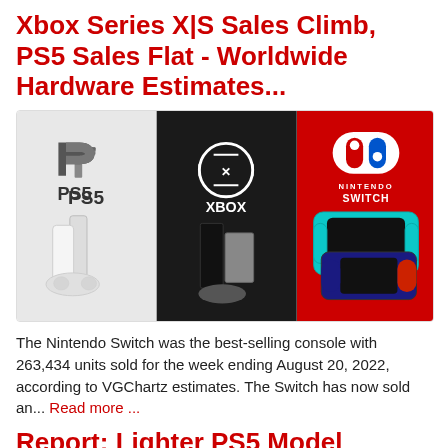Xbox Series X|S Sales Climb, PS5 Sales Flat - Worldwide Hardware Estimates...
[Figure (photo): Promotional image showing three gaming consoles side by side: PS5 on a light gray background, Xbox Series X and S on a dark background, and Nintendo Switch Lite and Switch OLED on a red background, each with their respective brand logos.]
The Nintendo Switch was the best-selling console with 263,434 units sold for the week ending August 20, 2022, according to VGChartz estimates. The Switch has now sold an... Read more ...
Report: Lighter PS5 Model Released in